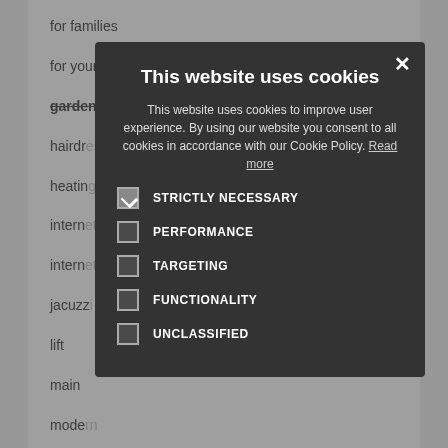for families
for young people
garden for exclusive use
hairdresser
heating
internet
internet
jacuzzi
lift
main
modern
no smoking
parking
ping-pong
playground
playroom
porter
private
reading
refrigerator
restaurant
safe
sat-tv
[Figure (screenshot): Cookie consent modal overlay dialog with title 'This website uses cookies', body text explaining cookie usage with a 'Read more' link, and five cookie category checkboxes: STRICTLY NECESSARY (checked), PERFORMANCE (unchecked), TARGETING (unchecked), FUNCTIONALITY (unchecked), UNCLASSIFIED (unchecked). A close button (X) is in the top right corner.]